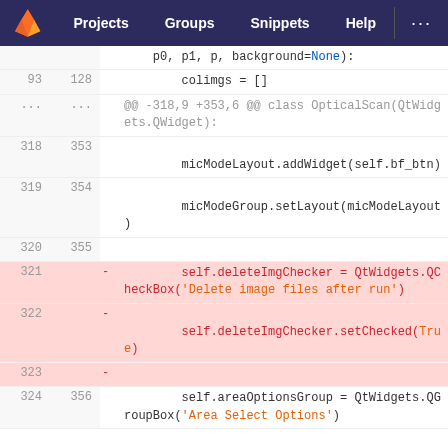GitLab navigation: Projects | Groups | Snippets | Help | ...
[Figure (screenshot): GitLab code diff view showing Python source changes. Lines 93/128 through 324/356 visible. Lines 321-323 are deleted (red background) showing removal of self.deleteImgChecker = QtWidgets.QCheckBox('Delete image files after run'), self.deleteImgChecker.setChecked(True), and an empty line. Line 324/356 shows self.areaOptionsGroup = QtWidgets.QGroupBox('Area Select Options').]